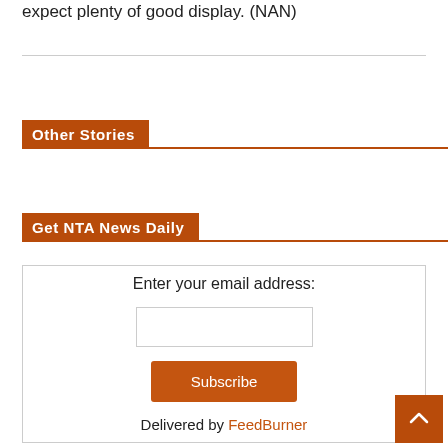expect plenty of good display. (NAN)
Other Stories
Get NTA News Daily
Enter your email address:
Delivered by FeedBurner